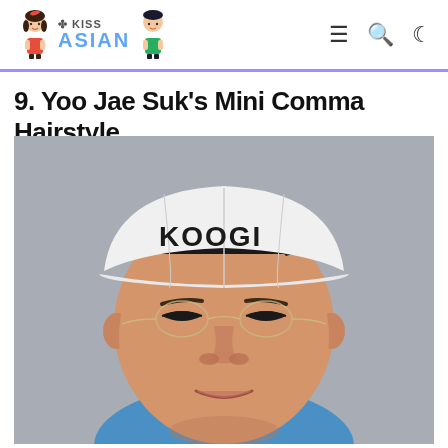KISS ASIAN [navigation icons: menu, search, dark mode]
9. Yoo Jae Suk's Mini Comma Hairstyle
[Figure (photo): Photo of Yoo Jae Suk wearing a white KOOGI baseball cap tilted back, showing dark hair peeking out from the front. He is wearing rimless glasses and a blue shirt, smiling slightly. The background is a grey wall.]